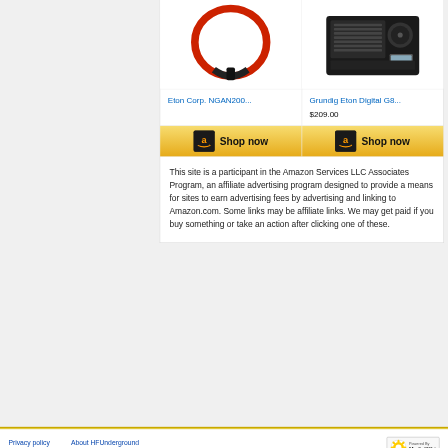[Figure (screenshot): Product image of Eton Corp. NGAN200 antenna - red/black loop antenna on white background]
[Figure (screenshot): Product image of Grundig Eton Digital G8 radio - black portable shortwave radio on white background]
Eton Corp. NGAN200...
Grundig Eton Digital G8...
$209.00
[Figure (screenshot): Amazon Shop now button (left)]
[Figure (screenshot): Amazon Shop now button (right)]
This site is a participant in the Amazon Services LLC Associates Program, an affiliate advertising program designed to provide a means for sites to earn advertising fees by advertising and linking to Amazon.com. Some links may be affiliate links. We may get paid if you buy something or take an action after clicking one of these.
Privacy policy   About HFUnderground   Disclaimers   Powered by MediaWiki